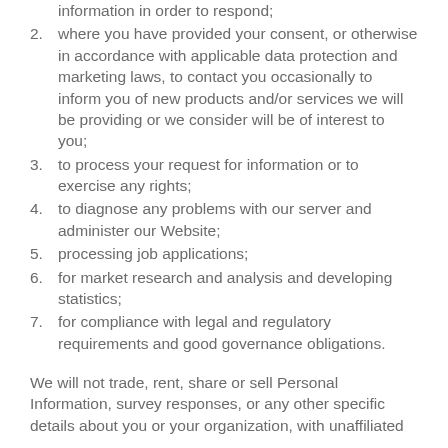information in order to respond;
where you have provided your consent, or otherwise in accordance with applicable data protection and marketing laws, to contact you occasionally to inform you of new products and/or services we will be providing or we consider will be of interest to you;
to process your request for information or to exercise any rights;
to diagnose any problems with our server and administer our Website;
processing job applications;
for market research and analysis and developing statistics;
for compliance with legal and regulatory requirements and good governance obligations.
We will not trade, rent, share or sell Personal Information, survey responses, or any other specific details about you or your organization, with unaffiliated